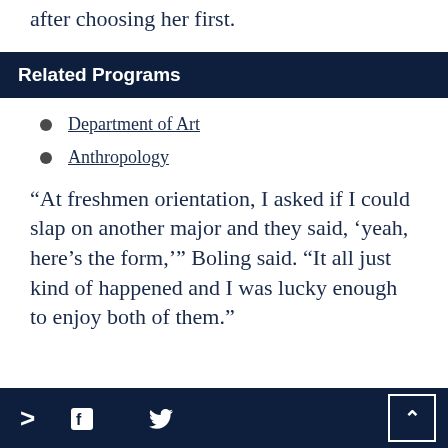after choosing her first.
Related Programs
Department of Art
Anthropology
“At freshmen orientation, I asked if I could slap on another major and they said, ‘yeah, here’s the form,’” Boling said. “It all just kind of happened and I was lucky enough to enjoy both of them.”
> f 🤦